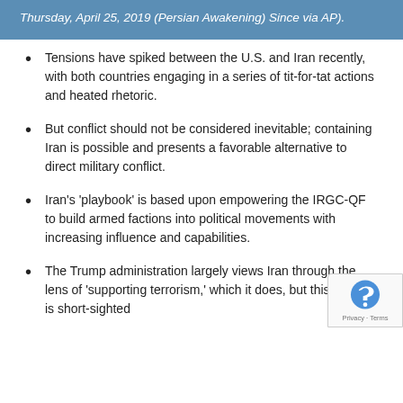Thursday, April 25, 2019 (Persian Awakening) Since via AP).
Tensions have spiked between the U.S. and Iran recently, with both countries engaging in a series of tit-for-tat actions and heated rhetoric.
But conflict should not be considered inevitable; containing Iran is possible and presents a favorable alternative to direct military conflict.
Iran’s ‘playbook’ is based upon empowering the IRGC-QF to build armed factions into political movements with increasing influence and capabilities.
The Trump administration largely views Iran through the lens of ‘supporting terrorism,’ which it does, but this frame is short-sighted